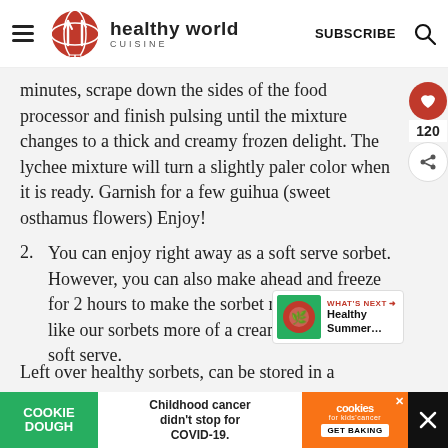healthy world cuisine
minutes, scrape down the sides of the food processor and finish pulsing until the mixture changes to a thick and creamy frozen delight. The lychee mixture will turn a slightly paler color when it is ready. Garnish for a few guihua (sweet osthamus flowers) Enjoy!
2. You can enjoy right away as a soft serve sorbet. However, you can also make ahead and freeze for 2 hours to make the sorbet more firm. We like our sorbets more of a creamy texture like a soft serve.
Left over healthy sorbets, can be stored in a
[Figure (screenshot): Advertisement bar at the bottom: Cookie Dough green logo, 'Childhood cancer didn't stop for COVID-19.' text, cookies for kids cancer orange logo with GET BAKING button]